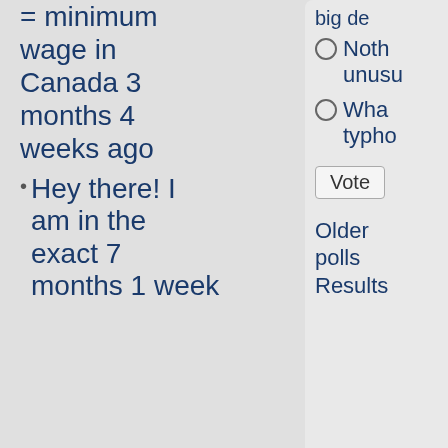= minimum wage in Canada 3 months 4 weeks ago
Hey there! I am in the exact 7 months 1 week
Noth unusu
Wha typho
Vote
Older polls Results
A Twitter List by koreabrid